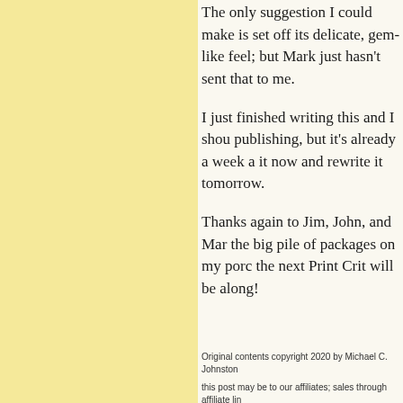The only suggestion I could make is set off its delicate, gem-like feel; but Mark just hasn't sent that to me.
I just finished writing this and I should publishing, but it's already a week and it now and rewrite it tomorrow.
Thanks again to Jim, John, and Mark the big pile of packages on my porch the next Print Crit will be along!
Original contents copyright 2020 by Michael C. Johnston
this post may be to our affiliates; sales through affiliate links
Please help support The Online
(To see all the comments, click on the "Comments" link
Featured Comments from:
Neil Partridge: "Could we have pic